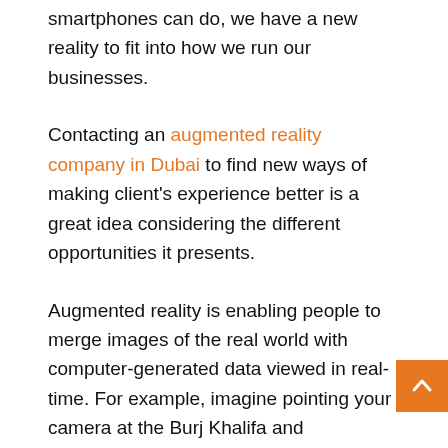smartphones can do, we have a new reality to fit into how we run our businesses.
Contacting an augmented reality company in Dubai to find new ways of making client's experience better is a great idea considering the different opportunities it presents.
Augmented reality is enabling people to merge images of the real world with computer-generated data viewed in real-time. For example, imagine pointing your camera at the Burj Khalifa and immediately seeing information about when it was built, how much it costs to dine in there, and so on.